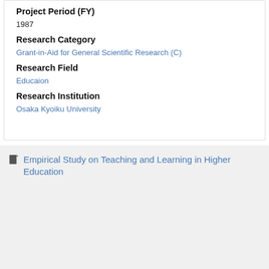Project Period (FY)
1987
Research Category
Grant-in-Aid for General Scientific Research (C)
Research Field
Educaion
Research Institution
Osaka Kyoiku University
Empirical Study on Teaching and Learning in Higher Education
Principal Investigator
KATAOKA Tokuo
Project Period (FY)